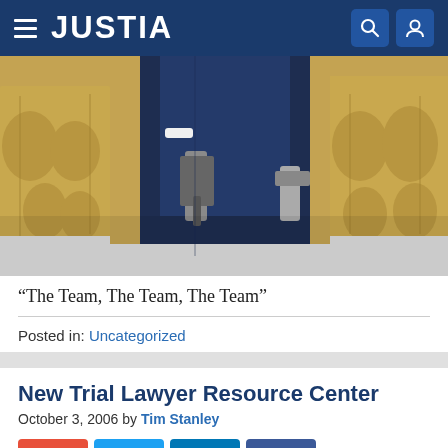JUSTIA
[Figure (photo): Close-up photo of a football coach in dark navy clothing standing among football players wearing gold/yellow uniforms with padding, holding a clipboard or tools. Appears to be a vintage sports photograph.]
“The Team, The Team, The Team”
Posted in: Uncategorized
New Trial Lawyer Resource Center
October 3, 2006 by Tim Stanley
[Figure (infographic): Social sharing buttons: Google+, Twitter, LinkedIn, Facebook]